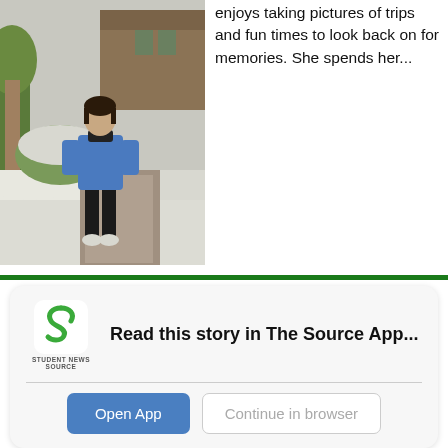[Figure (photo): Person standing on a snowy path wearing a blue jacket and black pants, with snow-covered trees and a building in the background.]
enjoys taking pictures of trips and fun times to look back on for memories. She spends her...
[Figure (logo): Student News Source app logo — green S-shaped icon with text STUDENT NEWS SOURCE below]
Read this story in The Source App...
Open App
Continue in browser